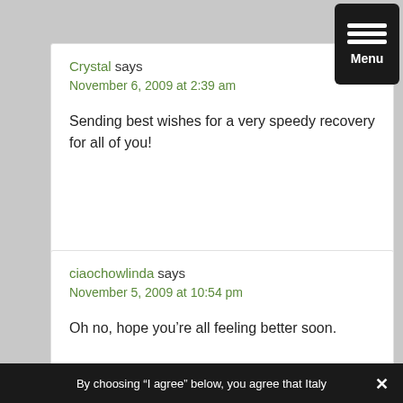[Figure (other): Black menu button with three white horizontal bars and 'Menu' label]
Crystal says
November 6, 2009 at 2:39 am
Sending best wishes for a very speedy recovery for all of you!
ciaochowlinda says
November 5, 2009 at 10:54 pm
Oh no, hope you’re all feeling better soon.
By choosing “I agree” below, you agree that Italy